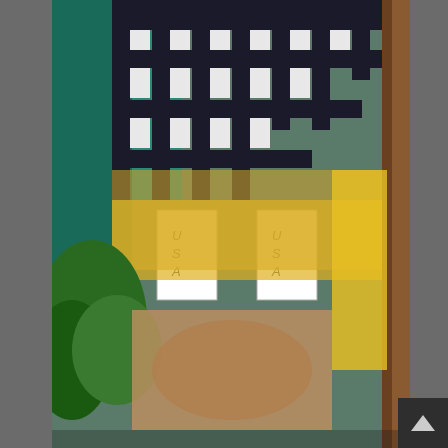[Figure (photo): Photo of a craft project showing a launch pad and crane model made from cardboard with duct tape. Labels reading 'USA' are visible on white rectangular pieces. The background includes colorful elements: teal, green, yellow, and the model appears to be a space-themed diorama.]
After I finished the rocket I began work on the launch pad and crane. The launch pad was designed to be a raised square platform. Similarly to the rocket, I first outlined the design on the cardboard and then cut the design out using an Xacto knife. I then folded the edges down and taped them together so that the square platform could be raised. For the crane I once again outlined the design in cardboard and cut it out using an Xacto knife. To add some color, I coated the individual faces of the crane in duct tape. I then taped the insides of the crane pieces together in the same way as the rocket so that the finished product could be three dimensional. I then carefully aligned some foil and taped it to the